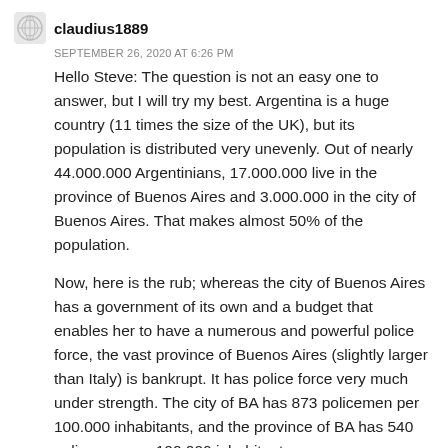claudius1889
SEPTEMBER 26, 2020 AT 6:26 PM
Hello Steve: The question is not an easy one to answer, but I will try my best. Argentina is a huge country (11 times the size of the UK), but its population is distributed very unevenly. Out of nearly 44.000.000 Argentinians, 17.000.000 live in the province of Buenos Aires and 3.000.000 in the city of Buenos Aires. That makes almost 50% of the population.
Now, here is the rub; whereas the city of Buenos Aires has a government of its own and a budget that enables her to have a numerous and powerful police force, the vast province of Buenos Aires (slightly larger than Italy) is bankrupt. It has police force very much under strength. The city of BA has 873 policemen per 100.000 inhabitants, and the province of BA has 540 policemen per 100.000 inhabitants.